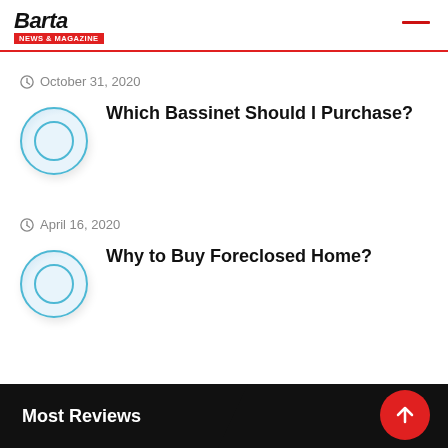Barta News & Magazine
October 31, 2020
Which Bassinet Should I Purchase?
[Figure (illustration): Circular thumbnail placeholder with blue outline ring]
April 16, 2020
Why to Buy Foreclosed Home?
[Figure (illustration): Circular thumbnail placeholder with blue outline ring]
Most Reviews